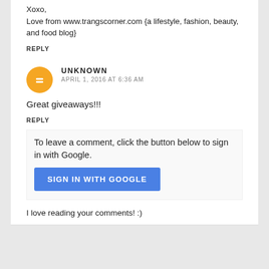Xoxo,
Love from www.trangscorner.com {a lifestyle, fashion, beauty, and food blog}
REPLY
UNKNOWN
APRIL 1, 2016 AT 6:36 AM
Great giveaways!!!
REPLY
To leave a comment, click the button below to sign in with Google.
SIGN IN WITH GOOGLE
I love reading your comments! :)